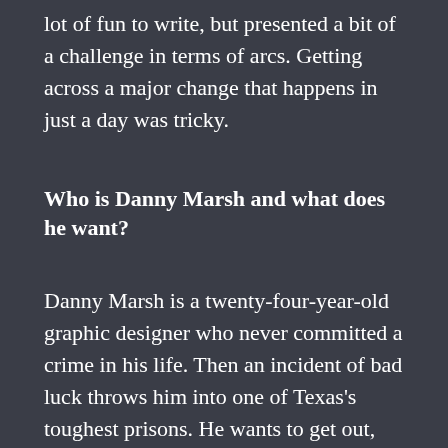lot of fun to write, but presented a bit of a challenge in terms of arcs. Getting across a major change that happens in just a day was tricky.
Who is Danny Marsh and what does he want?
Danny Marsh is a twenty-four-year-old graphic designer who never committed a crime in his life. Then an incident of bad luck throws him into one of Texas's toughest prisons. He wants to get out, get to Mexico, and start afresh with a new name and new identity.